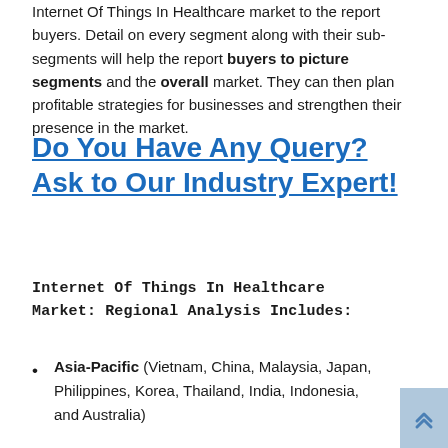Internet Of Things In Healthcare market to the report buyers. Detail on every segment along with their sub-segments will help the report buyers to picture segments and the overall market. They can then plan profitable strategies for businesses and strengthen their presence in the market.
Do You Have Any Query? Ask to Our Industry Expert!
Internet Of Things In Healthcare Market: Regional Analysis Includes:
Asia-Pacific (Vietnam, China, Malaysia, Japan, Philippines, Korea, Thailand, India, Indonesia, and Australia)